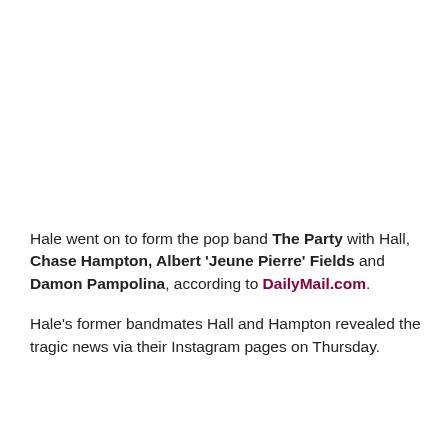Hale went on to form the pop band The Party with Hall, Chase Hampton, Albert 'Jeune Pierre' Fields and Damon Pampolina, according to DailyMail.com.
Hale's former bandmates Hall and Hampton revealed the tragic news via their Instagram pages on Thursday.